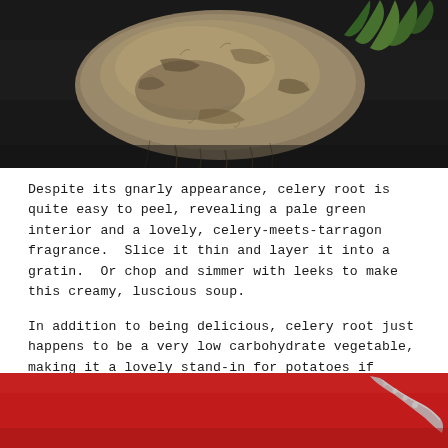[Figure (photo): Close-up photo of a gnarly celery root (celeriac) on a dark background with green fronds visible at top right]
Despite its gnarly appearance, celery root is quite easy to peel, revealing a pale green interior and a lovely, celery-meets-tarragon fragrance.  Slice it thin and layer it into a gratin.  Or chop and simmer with leeks to make this creamy, luscious soup.
In addition to being delicious, celery root just happens to be a very low carbohydrate vegetable, making it a lovely stand-in for potatoes if you're mindful of such things (I am).  I topped the soup two ways for the pics – above, with sliced scallions and crispy bacon; below, with a drizzle of walnut oil and toasted walnuts.  If you're thinking cheese could be happy here, you're so right…
[Figure (photo): Partial photo of a bowl of creamy soup on a red background with a spoon visible]